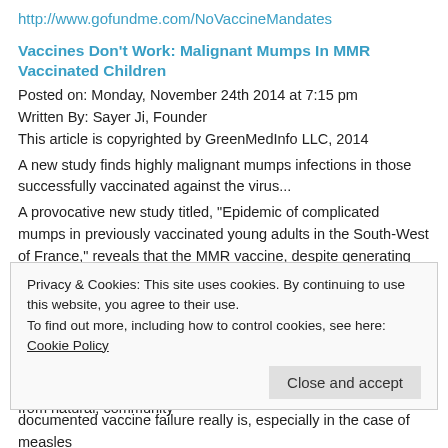http://www.gofundme.com/NoVaccineMandates
Vaccines Don't Work: Malignant Mumps In MMR Vaccinated Children
Posted on: Monday, November 24th 2014 at 7:15 pm
Written By: Sayer Ji, Founder
This article is copyrighted by GreenMedInfo LLC, 2014
A new study finds highly malignant mumps infections in those successfully vaccinated against the virus...
A provocative new study titled, "Epidemic of complicated mumps in previously vaccinated young adults in the South-West of France," reveals that the MMR vaccine, despite generating high rates of presumably protective IgG antibodies against mumps, does not always translate into real-world immunity against infection as we have repeatedly been told. To the contrary, the study details cases where, despite the detection of high levels of antibodies against the mumps virus, patients contracted a malignant form of mumps that only rarely follows from natural, community
Privacy & Cookies: This site uses cookies. By continuing to use this website, you agree to their use.
To find out more, including how to control cookies, see here: Cookie Policy
Close and accept
documented vaccine failure really is, especially in the case of measles